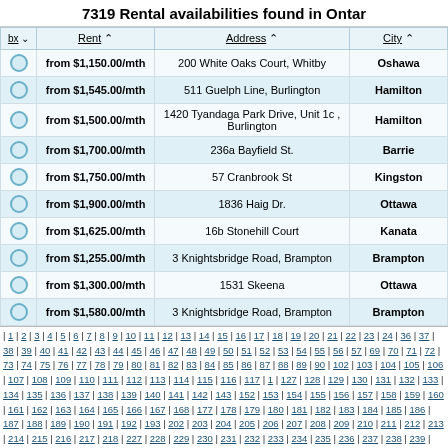7319 Rental availabilities found in Ontar
| bx | Rent | Address | City |
| --- | --- | --- | --- |
|  | from $1,150.00/mth | 200 White Oaks Court, Whitby | Oshawa |
|  | from $1,545.00/mth | 511 Guelph Line, Burlington | Hamilton |
|  | from $1,500.00/mth | 1420 Tyandaga Park Drive, Unit 1c , Burlington | Hamilton |
|  | from $1,700.00/mth | 236a Bayfield St. | Barrie |
|  | from $1,750.00/mth | 57 Cranbrook St | Kingston |
|  | from $1,900.00/mth | 1836 Haig Dr. | Ottawa |
|  | from $1,625.00/mth | 16b Stonehill Court | Kanata |
|  | from $1,255.00/mth | 3 Knightsbridge Road, Brampton | Brampton |
|  | from $1,300.00/mth | 1531 Skeena | Ottawa |
|  | from $1,580.00/mth | 3 Knightsbridge Road, Brampton | Brampton |
| 1 | 2 | 3 | 4 | 5 | 6 | 7 | 8 | 9 | 10 | 11 | 12 | 13 | 14 | 15 | 16 | 17 | 18 | 19 | 20 | 21 | 22 | 23 | 24 | 36 | 37 | 38 | 39 | 40 | 41 | 42 | 43 | 44 | 45 | 46 | 47 | 48 | 49 | 50 | 51 | 52 | 53 | 54 | 55 | 56 | 57 | 69 | 70 | 71 | 72 | 73 | 74 | 75 | 76 | 77 | 78 | 79 | 80 | 81 | 82 | 83 | 84 | 85 | 86 | 87 | 88 | 89 | 90 | 102 | 103 | 104 | 105 | 106 | 107 | 108 | 109 | 110 | 111 | 112 | 113 | 114 | 115 | 116 | 117 | 1 | 127 | 128 | 129 | 130 | 131 | 132 | 133 | 134 | 135 | 136 | 137 | 138 | 139 | 140 | 141 | 142 | 143 | 152 | 153 | 154 | 155 | 156 | 157 | 158 | 159 | 160 | 161 | 162 | 163 | 164 | 165 | 166 | 167 | 168 | 177 | 178 | 179 | 180 | 181 | 182 | 183 | 184 | 185 | 186 | 187 | 188 | 189 | 190 | 191 | 192 | 193 | 202 | 203 | 204 | 205 | 206 | 207 | 208 | 209 | 210 | 211 | 212 | 213 | 214 | 215 | 216 | 217 | 218 | 227 | 228 | 229 | 230 | 231 | 232 | 233 | 234 | 235 | 236 | 237 | 238 | 239 | 240 | 241 | 242 | 243